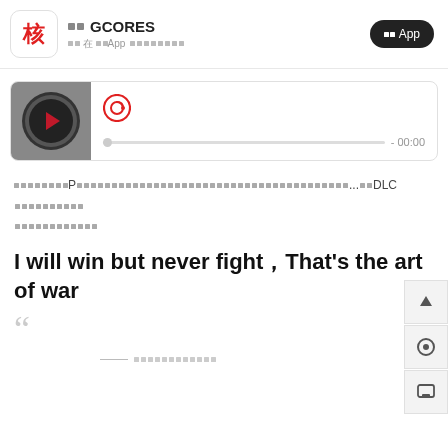核 GCORES 在 此App 中打开或下载App
[Figure (screenshot): Audio player widget with gray thumbnail showing play button, NetEase Cloud Music logo, progress bar at zero, and time display - 00:00]
他们都认为如果P开局就这样设计的话其实会产生很多新颖的策略选择但是玩家又很难主动相信这会有趣...虽然DLC卖得很好相信对于后续的扩展包还是会很稳健的
I will win but never fight，That's the art of war
““
——上帝之城的爱与恨以及所有